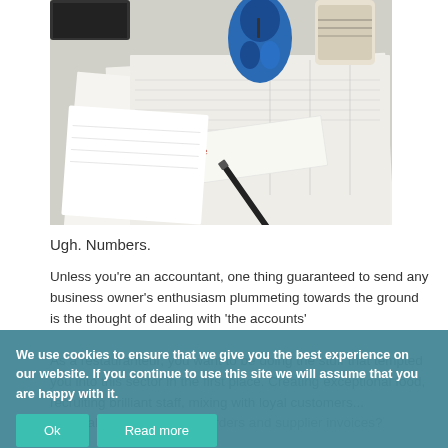[Figure (photo): Photo of tax documents, financial papers, a blue computer mouse, pen, and coffee mug on a desk. A newspaper clipping reading 'Tax Incentive' is visible among the papers.]
Ugh. Numbers.
Unless you're an accountant, one thing guaranteed to send any business owner's enthusiasm plummeting towards the ground is the thought of dealing with 'the accounts'
As a restauranteur, you want to be doing the stuff that tempted you into this sector in the first place. Creating exceptional food, recruiting brilliant staff, mixing with loyal customers... but dealing with purchase orders and supplier invoices?
We use cookies to ensure that we give you the best experience on our website. If you continue to use this site we will assume that you are happy with it.